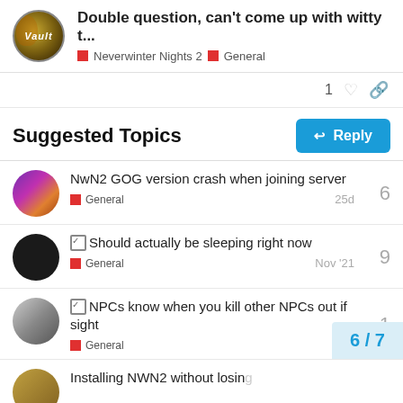Double question, can't come up with witty t... | Neverwinter Nights 2 | General
1
Suggested Topics
NwN2 GOG version crash when joining server | General | 25d | 6
☑ Should actually be sleeping right now | General | Nov '21 | 9
☑ NPCs know when you kill other NPCs out if sight | General | 25d | 1
Installing NWN2 without losin...
6 / 7